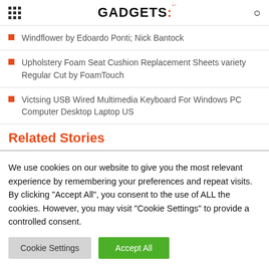GADGETS
Windflower by Edoardo Ponti; Nick Bantock
Upholstery Foam Seat Cushion Replacement Sheets variety Regular Cut by FoamTouch
Victsing USB Wired Multimedia Keyboard For Windows PC Computer Desktop Laptop US
Related Stories
We use cookies on our website to give you the most relevant experience by remembering your preferences and repeat visits. By clicking "Accept All", you consent to the use of ALL the cookies. However, you may visit "Cookie Settings" to provide a controlled consent.
Cookie Settings | Accept All